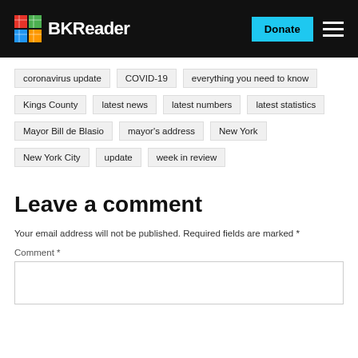BKReader | Donate
coronavirus update
COVID-19
everything you need to know
Kings County
latest news
latest numbers
latest statistics
Mayor Bill de Blasio
mayor's address
New York
New York City
update
week in review
Leave a comment
Your email address will not be published. Required fields are marked *
Comment *